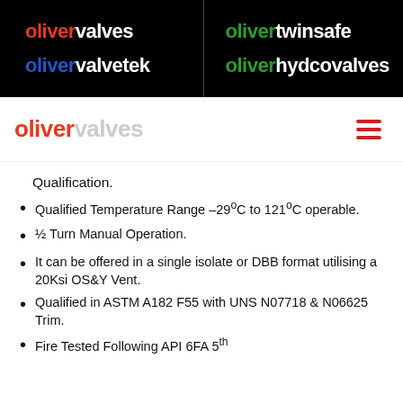oliver valves | oliver twinsafe | oliver valvetek | oliver hydcovalves
[Figure (logo): Oliver Valves logo with red 'oliver' and grey 'valves' text, and hamburger menu icon]
Qualification.
Qualified Temperature Range –29°C to 121°C operable.
½ Turn Manual Operation.
It can be offered in a single isolate or DBB format utilising a 20Ksi OS&Y Vent.
Qualified in ASTM A182 F55 with UNS N07718 & N06625 Trim.
Fire Tested Following API 6FA 5th